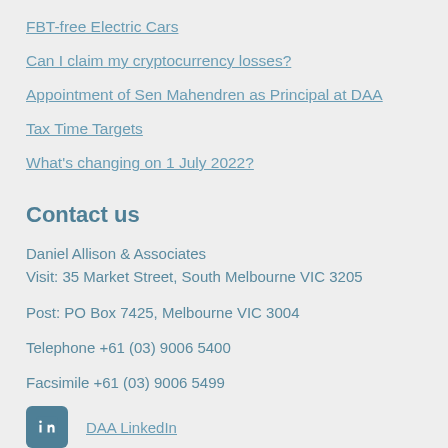FBT-free Electric Cars
Can I claim my cryptocurrency losses?
Appointment of Sen Mahendren as Principal at DAA
Tax Time Targets
What's changing on 1 July 2022?
Contact us
Daniel Allison & Associates
Visit: 35 Market Street, South Melbourne VIC 3205
Post: PO Box 7425, Melbourne VIC 3004
Telephone +61 (03) 9006 5400
Facsimile +61 (03) 9006 5499
DAA LinkedIn